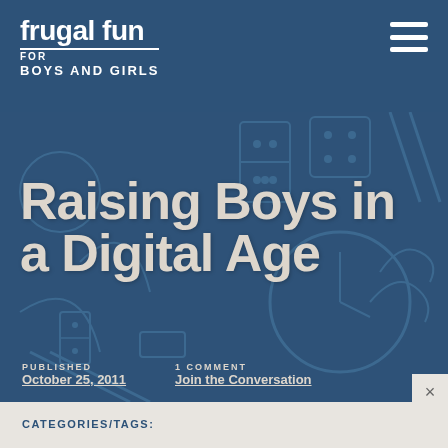frugal fun FOR BOYS AND GIRLS
Raising Boys in a Digital Age
PUBLISHED October 25, 2011
1 COMMENT Join the Conversation
CATEGORIES/TAGS: